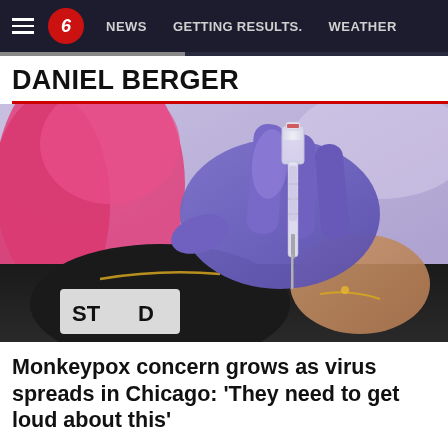NEWS   GETTING RESULTS.   WEATHER
DANIEL BERGER
[Figure (photo): Close-up photo of a person with pink hair wearing purple latex gloves, drawing vaccine/medication into a syringe from a vial. Person is wearing a black shirt and a gold necklace and bracelet. Background is blurred lavender/purple.]
Monkeypox concern grows as virus spreads in Chicago: 'They need to get loud about this'